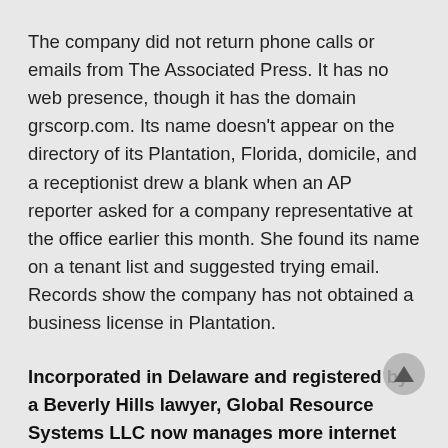The company did not return phone calls or emails from The Associated Press. It has no web presence, though it has the domain grscorp.com. Its name doesn't appear on the directory of its Plantation, Florida, domicile, and a receptionist drew a blank when an AP reporter asked for a company representative at the office earlier this month. She found its name on a tenant list and suggested trying email. Records show the company has not obtained a business license in Plantation.
Incorporated in Delaware and registered by a Beverly Hills lawyer, Global Resource Systems LLC now manages more internet space than China Telecom, AT&T or Comcast.